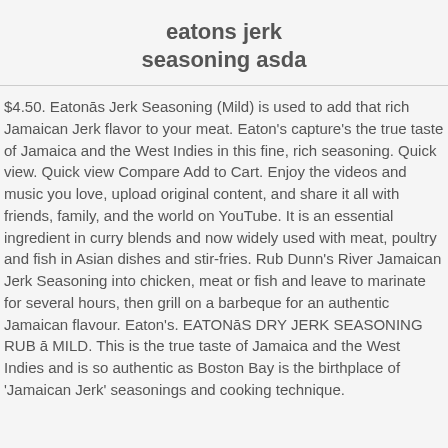eatons jerk seasoning asda
$4.50. Eatonās Jerk Seasoning (Mild) is used to add that rich Jamaican Jerk flavor to your meat. Eaton's capture's the true taste of Jamaica and the West Indies in this fine, rich seasoning. Quick view. Quick view Compare Add to Cart. Enjoy the videos and music you love, upload original content, and share it all with friends, family, and the world on YouTube. It is an essential ingredient in curry blends and now widely used with meat, poultry and fish in Asian dishes and stir-fries. Rub Dunn's River Jamaican Jerk Seasoning into chicken, meat or fish and leave to marinate for several hours, then grill on a barbeque for an authentic Jamaican flavour. Eaton's. EATONāS DRY JERK SEASONING RUB ā MILD. This is the true taste of Jamaica and the West Indies and is so authentic as Boston Bay is the birthplace of 'Jamaican Jerk' seasonings and cooking technique. Shop online at ASDA Groceries Home Shopping. This site uses cookies to provide you with a great user experience.